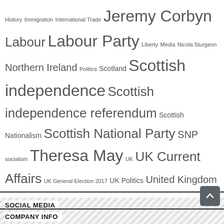History Immigration International Trade Jeremy Corbyn Labour Labour Party Liberty Media Nicola Sturgeon Northern Ireland Politics Scotland Scottish independence Scottish independence referendum Scottish Nationalism Scottish National Party SNP socialism Theresa May UK UK Current Affairs UK General Election 2017 UK Politics United Kingdom
SOCIAL MEDIA
Twitter
Facebook
[Figure (infographic): Facebook icon in grey circle showing 1,947 Fans and Twitter icon in grey circle showing 2,552 Followers]
COMPANY INFO